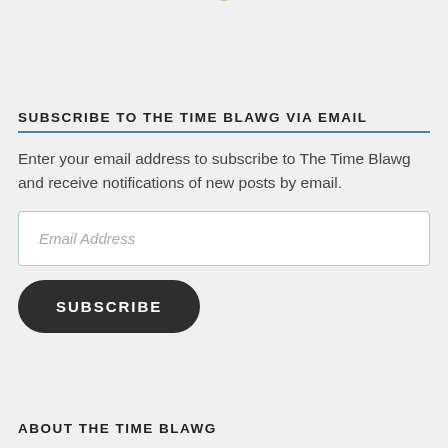[Figure (illustration): Partial gold badge/seal with star decorations visible at top of page]
SUBSCRIBE TO THE TIME BLAWG VIA EMAIL
Enter your email address to subscribe to The Time Blawg and receive notifications of new posts by email.
[Figure (other): Email Address input field]
[Figure (other): SUBSCRIBE button]
ABOUT THE TIME BLAWG